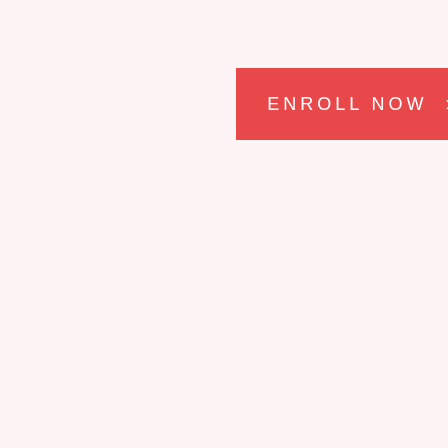[Figure (other): Red 'ENROLL NOW' button with a right-pointing chevron arrow on a light pink background]